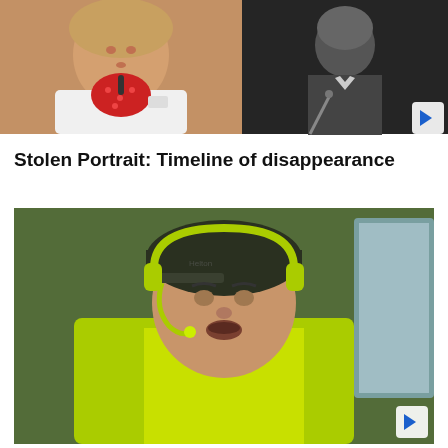[Figure (photo): Woman in white blazer and red polka-dot blouse being interviewed, with a microphone visible. Second photo shows a black-and-white image of a person in formal attire holding a cane.]
Stolen Portrait: Timeline of disappearance
[Figure (photo): Man wearing a dark cap, yellow-green high-visibility vest, and yellow headset/microphone, appearing to speak while inside a vehicle or cab.]